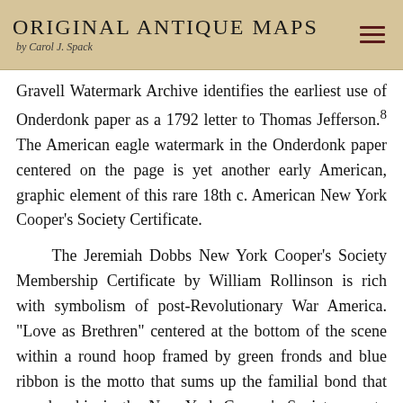Original Antique Maps by Carol J. Spack
Gravell Watermark Archive identifies the earliest use of Onderdonk paper as a 1792 letter to Thomas Jefferson.⁸ The American eagle watermark in the Onderdonk paper centered on the page is yet another early American, graphic element of this rare 18th c. American New York Cooper's Society Certificate.
The Jeremiah Dobbs New York Cooper's Society Membership Certificate by William Rollinson is rich with symbolism of post-Revolutionary War America. "Love as Brethren" centered at the bottom of the scene within a round hoop framed by green fronds and blue ribbon is the motto that sums up the familial bond that membership in the New York Cooper's Society was to engender. Above the red wax seal and motto is a beehive surrounded by worker bees, its open door facing the viewer, symbolizing the welcoming community of workers and the value of